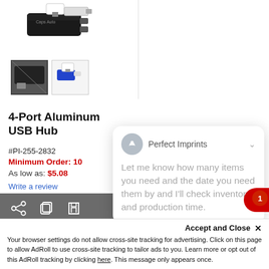[Figure (photo): Product image of 4-Port Aluminum USB Hub device with USB connector, and two thumbnail images below showing alternate angles]
4-Port Aluminum USB Hub
#PI-255-2832
Minimum Order: 10
As low as: $5.08
Write a review
[Figure (screenshot): Chat popup from Perfect Imprints with message: Let me know how many items you need and the date you need them by and I'll check inventory and production time.]
Accept and Close ✕
Your browser settings do not allow cross-site tracking for advertising. Click on this page to allow AdRoll to use cross-site tracking to tailor ads to you. Learn more or opt out of this AdRoll tracking by clicking here. This message only appears once.